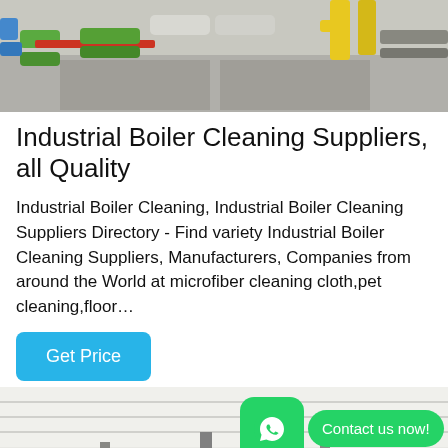[Figure (photo): Industrial boiler room with pipes, green insulated pipes and yellow valve fittings visible from above]
Industrial Boiler Cleaning Suppliers, all Quality
Industrial Boiler Cleaning, Industrial Boiler Cleaning Suppliers Directory - Find variety Industrial Boiler Cleaning Suppliers, Manufacturers, Companies from around the World at microfiber cleaning cloth,pet cleaning,floor…
Get Price
[Figure (photo): Industrial boiler or HVAC room interior showing pipes, scaffolding, ceiling structure and a large black cylindrical tank]